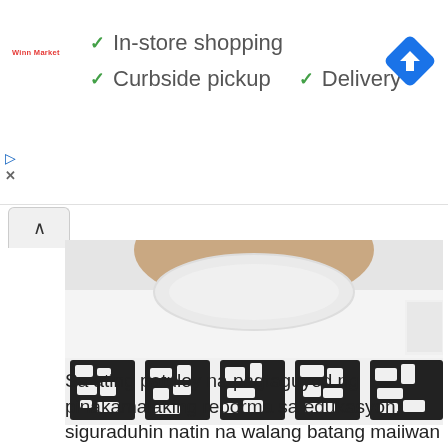[Figure (screenshot): Google ad banner showing Winn Market store with checkmarks for In-store shopping, Curbside pickup, and Delivery, with a blue navigation diamond icon on the right]
[Figure (photo): Close-up photo of a person wearing a white t-shirt with large black patterned letters visible on the lower portion]
Sa ating patuloy na pagtaguyod ng pinakamalaking reporma sa edukasyon, siguraduhin natin na walang batang maiiwan...